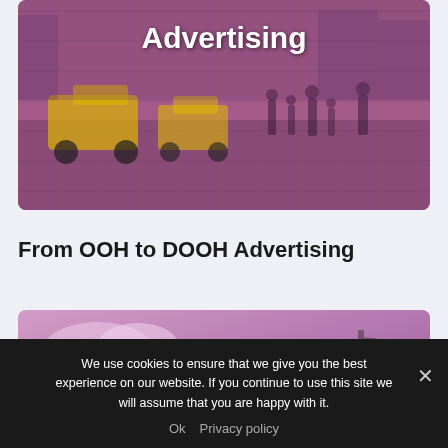[Figure (photo): Hero image of a busy city street (Times Square style) with yellow taxis and crowds of people, overlaid with a purple/pink color tint. The word 'Advertising' appears in large bold white text at the top.]
Advertising
From OOH to DOOH Advertising
[Figure (photo): Image of a billboard on a street lamp pole against a pink/purple sky background, with a pink/mauve color overlay.]
We use cookies to ensure that we give you the best experience on our website. If you continue to use this site we will assume that you are happy with it.
Ok   Privacy policy